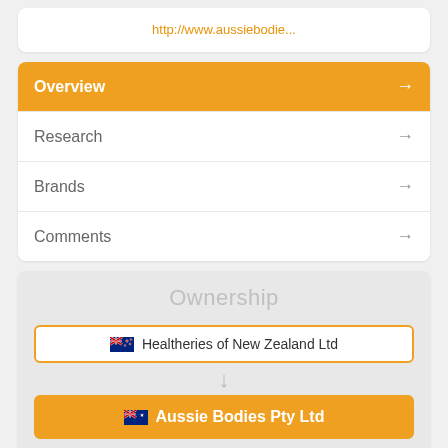http://www.aussiebodie...
Overview →
Research →
Brands →
Comments →
Ownership
Healtheries of New Zealand Ltd
Aussie Bodies Pty Ltd
view full ownership tree